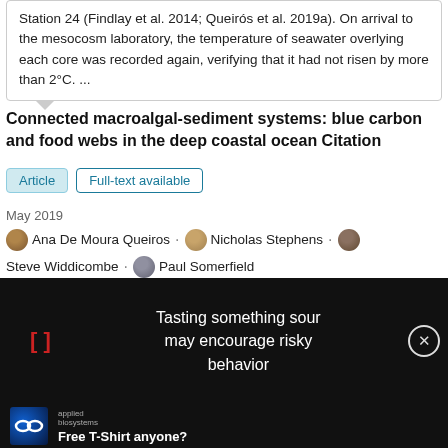Station 24 (Findlay et al. 2014; Queirós et al. 2019a). On arrival to the mesocosm laboratory, the temperature of seawater overlying each core was recorded again, verifying that it had not risen by more than 2°C. ...
Connected macroalgal-sediment systems: blue carbon and food webs in the deep coastal ocean Citation
Article   Full-text available
May 2019
Ana De Moura Queiros · Nicholas Stephens · Steve Widdicombe · Paul Somerfield
[ ]   Tasting something sour may encourage risky behavior
[Figure (screenshot): Advertisement banner with Applied Biosystems logo (infinity symbol) and text 'Free T-Shirt anyone?']